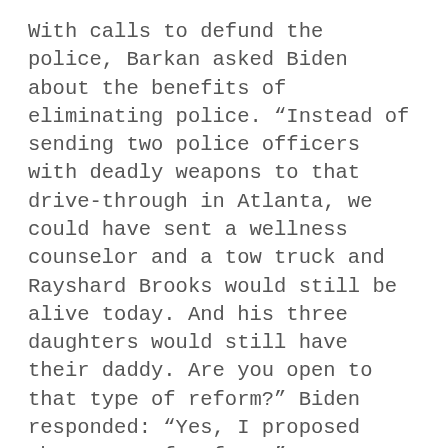With calls to defund the police, Barkan asked Biden about the benefits of eliminating police. “Instead of sending two police officers with deadly weapons to that drive-through in Atlanta, we could have sent a wellness counselor and a tow truck and Rayshard Brooks would still be alive today. And his three daughters would still have their daddy. Are you open to that type of reform?” Biden responded: “Yes, I proposed that type of reform.”
The problem is that Brooks attacked the police. If the police, trained in dealing with violent suspects, had trouble dealing with the powerfully-built Brooks, a wellness counselor would have had even more trouble. As the bodycam video reveals, the police act compassionately and courteously with Brooks...